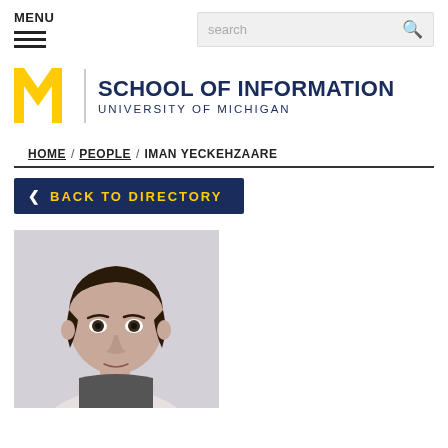MENU
[Figure (logo): University of Michigan School of Information logo with block M and text]
HOME / PEOPLE / IMAN YECKEHZAARE
< BACK TO DIRECTORY
[Figure (photo): Headshot photo of Iman Yeckehzaare, a young man with dark hair]